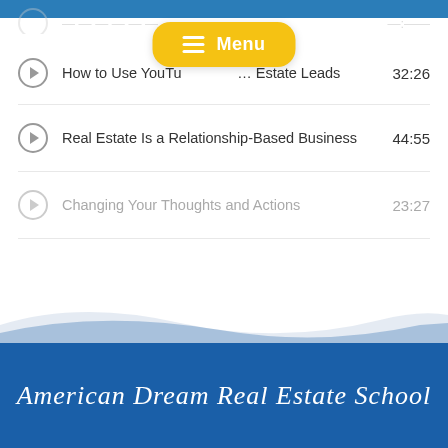[Figure (screenshot): Mobile app menu button overlay with yellow background showing hamburger icon and 'Menu' text]
How to Use YouTube … Estate Leads  32:26
Real Estate Is a Relationship-Based Business  44:55
Changing Your Thoughts and Actions  23:27
VIEW MORE VIDEOS
American Dream Real Estate School